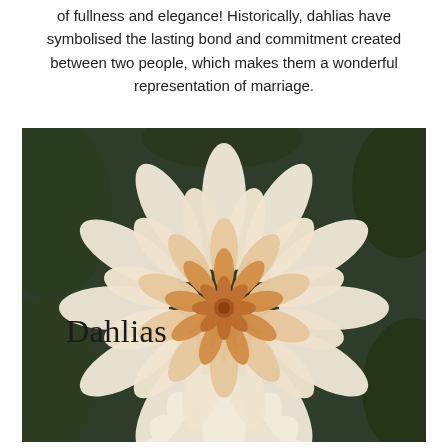of fullness and elegance! Historically, dahlias have symbolised the lasting bond and commitment created between two people, which makes them a wonderful representation of marriage.
[Figure (photo): Close-up photograph of a large cream and peach dahlia flower with many layered petals, dark green foliage visible in the background. The word 'Dahlias' is overlaid in a light serif font on the lower-left of the image.]